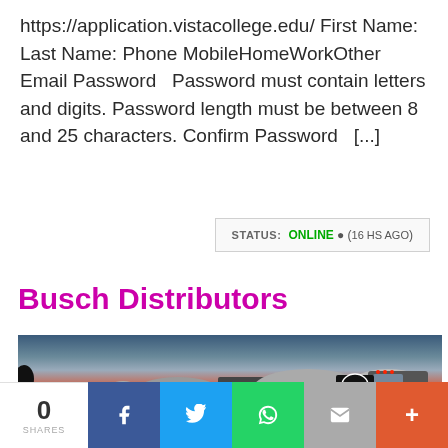https://application.vistacollege.edu/ First Name: Last Name: Phone MobileHomeWorkOther Email Password   Password must contain letters and digits. Password length must be between 8 and 25 characters. Confirm Password   [...]
STATUS: ONLINE ● (16 HS AGO)
Busch Distributors
[Figure (photo): Photo of Busch Distributors tanker trucks at dusk/sunset with colorful sky, showing the Busch logo on a tank truck]
0 SHARES